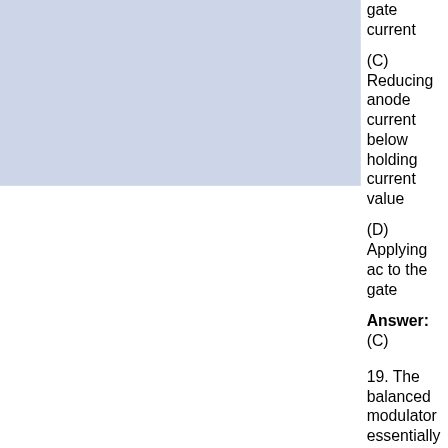gate current
(C) Reducing anode current below holding current value
(D) Applying ac to the gate
Answer: (C)
19. The balanced modulator essentially is